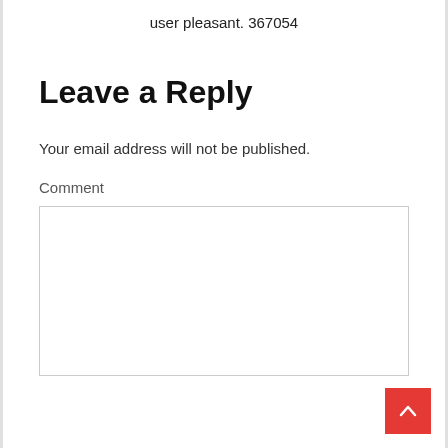user pleasant. 367054
Leave a Reply
Your email address will not be published.
Comment